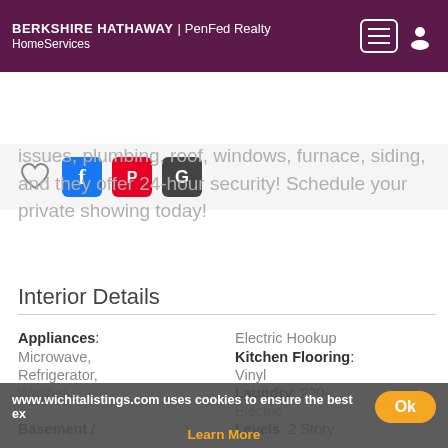[Figure (logo): Berkshire Hathaway HomeServices | PenFed Realty logo with navigation menu and user icon on dark purple header]
[Figure (infographic): Social sharing bar with heart icon, Facebook, Pinterest, and Google buttons]
issues, plumbing, roof, windows, furnace, siding, and they offer 24-hour security! Schedule your private showing today!
Interior Details
| Field | Value |
| --- | --- |
| Appliances: | Electric Hookup |
| Microwave, | Kitchen Flooring: |
| Refrigerator, | Vinyl |
| Washer | Laundry: 220- |
|  | Electric |
| Basement / | Levels: 2 Story |
www.wichitalistings.com uses cookies to ensure the best ex
Learn More